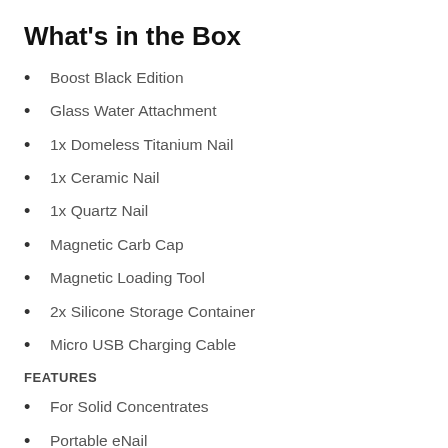What's in the Box
Boost Black Edition
Glass Water Attachment
1x Domeless Titanium Nail
1x Ceramic Nail
1x Quartz Nail
Magnetic Carb Cap
Magnetic Loading Tool
2x Silicone Storage Container
Micro USB Charging Cable
FEATURES
For Solid Concentrates
Portable eNail